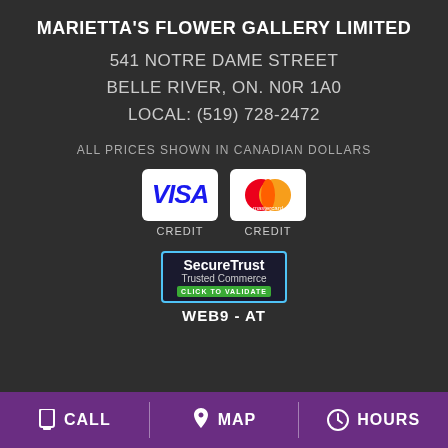MARIETTA'S FLOWER GALLERY LIMITED
541 NOTRE DAME STREET
BELLE RIVER, ON. N0R 1A0
LOCAL: (519) 728-2472
ALL PRICES SHOWN IN CANADIAN DOLLARS
[Figure (logo): VISA credit card logo and Mastercard credit card logo side by side, each labeled CREDIT below]
[Figure (logo): SecureTrust Trusted Commerce CLICK TO VALIDATE badge, labeled WEB9 - AT below]
CALL  MAP  HOURS